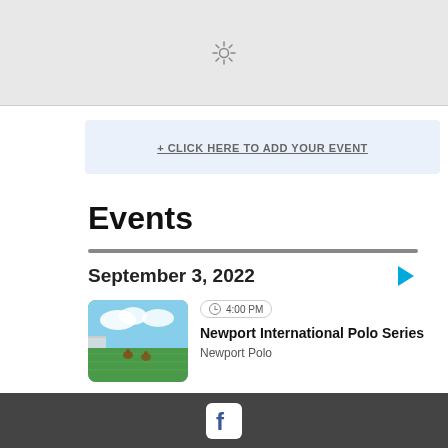[Figure (map): Gray map placeholder with a sun/loading spinner icon in the center]
+ CLICK HERE TO ADD YOUR EVENT
Events
September 3, 2022
[Figure (photo): Thumbnail of a polo field with green grass and players on horseback]
4:00 PM
Newport International Polo Series
Newport Polo
[Figure (logo): Facebook logo icon in white on dark footer bar]